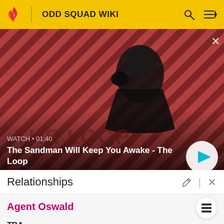ODD SQUAD WIKI
[Figure (screenshot): Video thumbnail showing a person in dark clothing with a raven on their shoulder against a red diagonal-striped background. Overlay shows 'WATCH • 01:40' and title 'The Sandman Will Keep You Awake - The Loop' with a play button.]
Relationships
Agent Oswald
TBA
Agent Opal